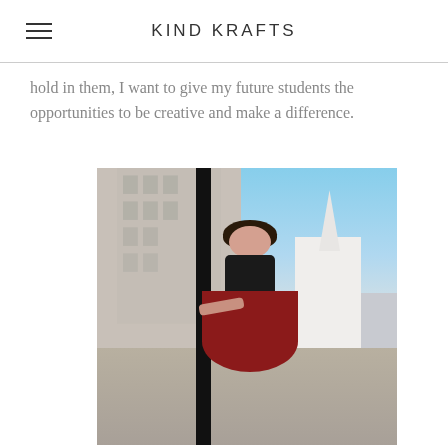KIND KRAFTS
hold in them, I want to give my future students the opportunities to be creative and make a difference.
[Figure (photo): A young woman wearing a black top and voluminous red satin skirt, hugging a black lamppost outside a classic brick building with a white church steeple visible in the background. She is smiling and wearing glasses.]